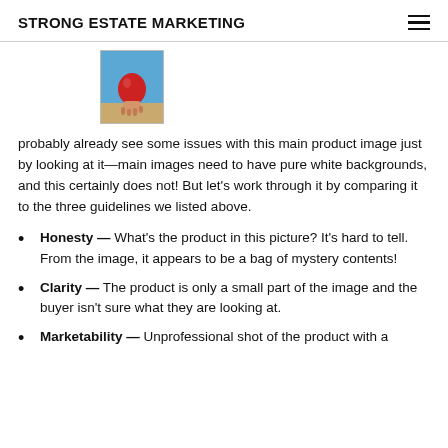STRONG ESTATE MARKETING
[Figure (photo): Small thumbnail image of a red bag held in a hand, with a blue sky background]
probably already see some issues with this main product image just by looking at it—main images need to have pure white backgrounds, and this certainly does not! But let's work through it by comparing it to the three guidelines we listed above.
Honesty — What's the product in this picture? It's hard to tell. From the image, it appears to be a bag of mystery contents!
Clarity — The product is only a small part of the image and the buyer isn't sure what they are looking at.
Marketability — Unprofessional shot of the product with a